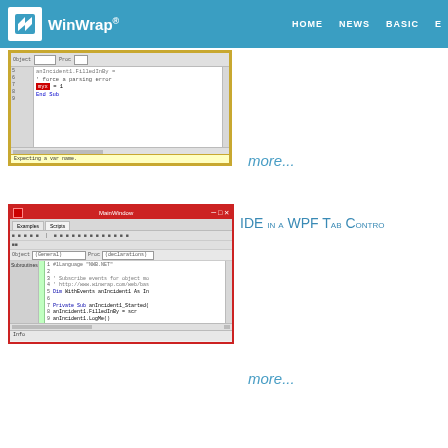WinWrap® — HOME NEWS BASIC
[Figure (screenshot): Code editor screenshot showing BASIC code with a parsing error highlighted, status bar reads 'Expecting a var name.']
more...
[Figure (screenshot): WinWrap IDE in a WPF Tab Control — MainWindow dialog showing code editor with BASIC script, tabs: Examples, Scripts]
IDE in a WPF Tab Control
more...